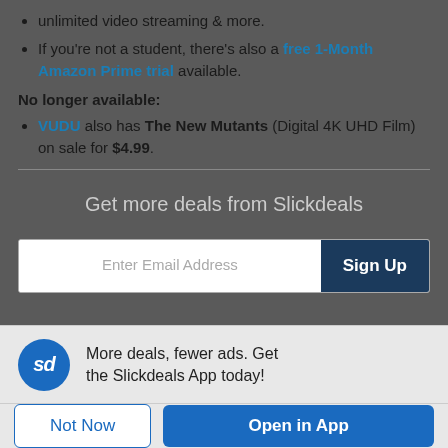unlimited video streaming & more.
If you're not a student, there's also a free 1-Month Amazon Prime trial available.
No longer available:
VUDU also has The New Mutants (Digital 4K UHD Film) on sale for $4.99.
Get more deals from Slickdeals
Enter Email Address
Sign Up
[Figure (logo): Slickdeals app icon — blue circle with 'sd' in white italic text]
More deals, fewer ads. Get the Slickdeals App today!
Not Now
Open in App